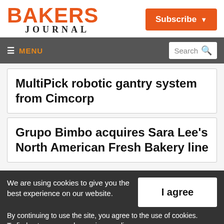BAKERS JOURNAL
Subscribe
≡ MENU  Search
MultiPick robotic gantry system from Cimcorp
Grupo Bimbo acquires Sara Lee's North American Fresh Bakery line
We are using cookies to give you the best experience on our website. By continuing to use the site, you agree to the use of cookies. To find out more, read our privacy policy.
I agree